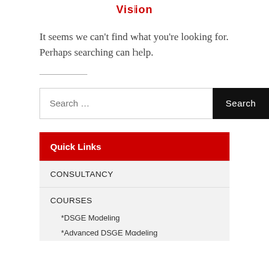Vision
It seems we can't find what you're looking for. Perhaps searching can help.
Search …
Quick Links
CONSULTANCY
COURSES
*DSGE Modeling
*Advanced DSGE Modeling